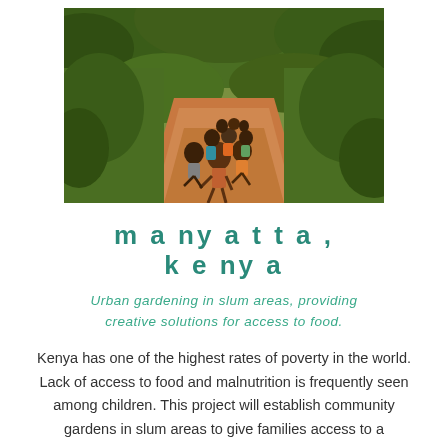[Figure (photo): Group of children running along a red dirt path surrounded by lush green trees and vegetation in Manyatta, Kenya]
manyatta,
kenya
Urban gardening in slum areas, providing creative solutions for access to food.
Kenya has one of the highest rates of poverty in the world. Lack of access to food and malnutrition is frequently seen among children. This project will establish community gardens in slum areas to give families access to a